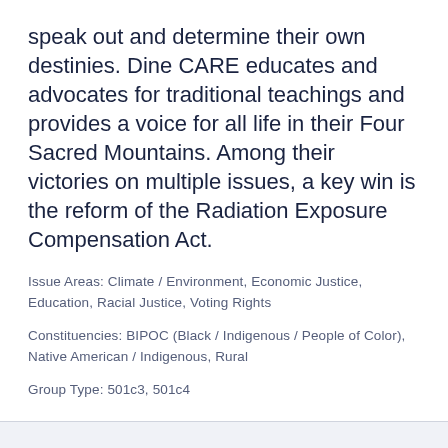speak out and determine their own destinies. Dine CARE educates and advocates for traditional teachings and provides a voice for all life in their Four Sacred Mountains. Among their victories on multiple issues, a key win is the reform of the Radiation Exposure Compensation Act.
Issue Areas: Climate / Environment, Economic Justice, Education, Racial Justice, Voting Rights
Constituencies: BIPOC (Black / Indigenous / People of Color), Native American / Indigenous, Rural
Group Type: 501c3, 501c4
Arizona
Equality Arizona works to build the political power of LGBTQ+ people in Arizona. They connect LGBTQ+